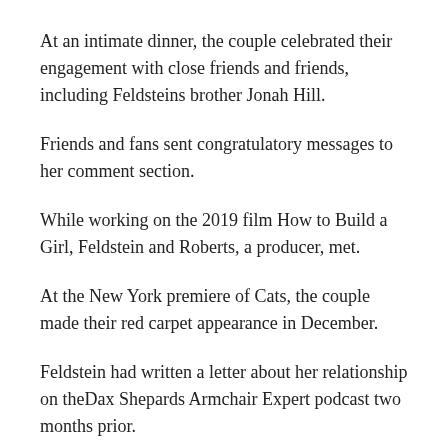At an intimate dinner, the couple celebrated their engagement with close friends and friends, including Feldsteins brother Jonah Hill.
Friends and fans sent congratulatory messages to her comment section.
While working on the 2019 film How to Build a Girl, Feldstein and Roberts, a producer, met.
At the New York premiere of Cats, the couple made their red carpet appearance in December.
Feldstein had written a letter about her relationship on theDax Shepards Armchair Expert podcast two months prior.
She said she and Roberts just spent every day together.
It was like, let"s have breakfast at 9 a.m. and then it would be